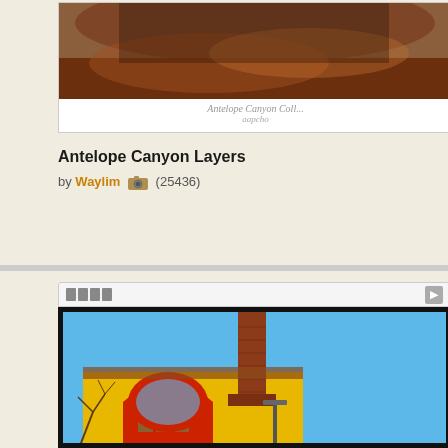[Figure (photo): Thumbnail photo of Antelope Canyon Layers with white card border, caption text below]
Antelope Canyon Layers
by Waylim (25436)
[Figure (photo): Architectural photo of yellow building with red arch and brick chimney against blue sky, shown in a panel with strip navigation bar]
mdetay | ★| (4929) 2012-05-24
Hi Janos, Good pano. Lots of chocolate. saturation. Great architectural details and Cheers. Michel